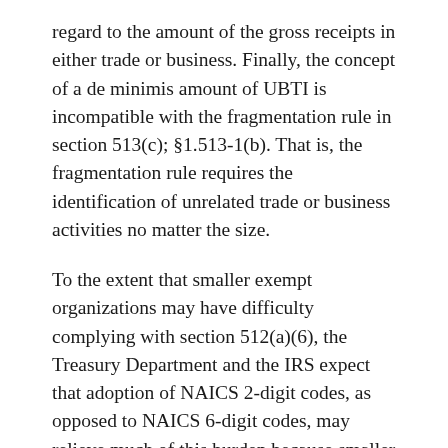regard to the amount of the gross receipts in either trade or business. Finally, the concept of a de minimis amount of UBTI is incompatible with the fragmentation rule in section 513(c); §1.513-1(b). That is, the fragmentation rule requires the identification of unrelated trade or business activities no matter the size.
To the extent that smaller exempt organizations may have difficulty complying with section 512(a)(6), the Treasury Department and the IRS expect that adoption of NAICS 2-digit codes, as opposed to NAICS 6-digit codes, may relieve much of this burden because smaller exempt organizations are unlikely to have numerous unrelated trades or businesses under these final regulations. Furthermore, under §1.6012-2(e), an exempt